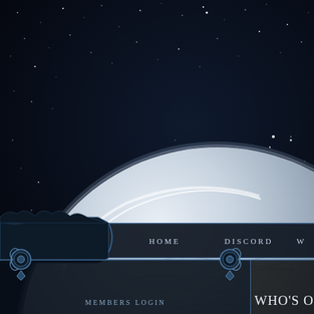[Figure (screenshot): Game website screenshot showing a dark space background with a large icy/rocky planet or moon in the center-right, with stars visible in the upper portion. Below is a dark blue navigation bar with ornamental left edge, navigation links (HOME, DISCORD, W...), a Members Login panel in the bottom-left with decorative ornaments, and a 'Who's On' panel in the bottom-right.]
HOME
DISCORD
MEMBERS LOGIN
WHO'S ON